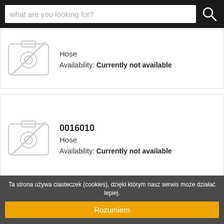what are you looking for?
[Figure (other): No image placeholder icon (camera with slash) for first product]
Hose
Availability: Currently not available
[Figure (other): No image placeholder icon (camera with slash) for second product]
0016010
Hose
Availability: Currently not available
Ta strona używa ciasteczek (cookies), dzięki którym nasz serwis może działać lepiej.
Rozumiem